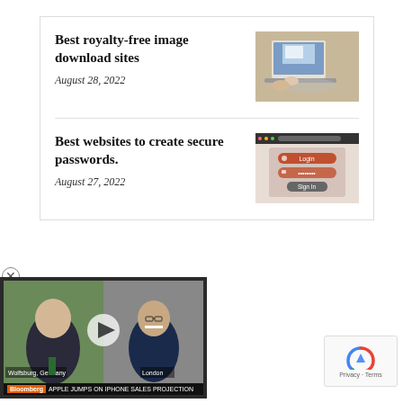Best royalty-free image download sites
August 28, 2022
[Figure (photo): Person working on a laptop computer]
Best websites to create secure passwords.
August 27, 2022
[Figure (screenshot): Login form with username and password fields and Sign In button]
[Figure (screenshot): Bloomberg video player showing two men, location tags Wolfsburg Germany and London, ticker: APPLE JUMPS ON IPHONE SALES PROJECTION]
[Figure (logo): Google reCAPTCHA badge with Privacy and Terms links]